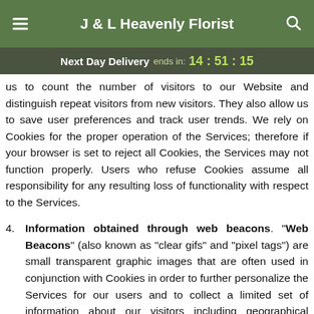J & L Heavenly Florist
Next Day Delivery ends in: 14:51:15
us to count the number of visitors to our Website and distinguish repeat visitors from new visitors. They also allow us to save user preferences and track user trends. We rely on Cookies for the proper operation of the Services; therefore if your browser is set to reject all Cookies, the Services may not function properly. Users who refuse Cookies assume all responsibility for any resulting loss of functionality with respect to the Services.
4. Information obtained through web beacons. "Web Beacons" (also known as "clear gifs" and "pixel tags") are small transparent graphic images that are often used in conjunction with Cookies in order to further personalize the Services for our users and to collect a limited set of information about our visitors including geographical location, length and extent of usage, and whether visitors have registered for any of the Services. We may also use Web Beacons in email communications in order to